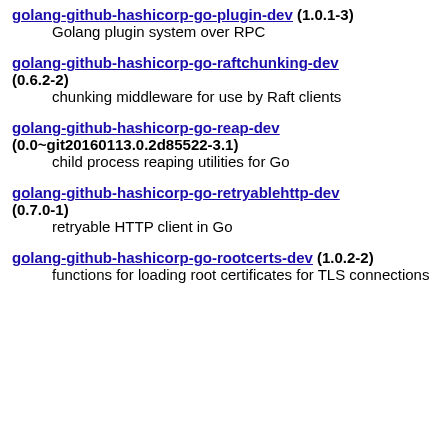golang-github-hashicorp-go-plugin-dev (1.0.1-3)
    Golang plugin system over RPC
golang-github-hashicorp-go-raftchunking-dev (0.6.2-2)
    chunking middleware for use by Raft clients
golang-github-hashicorp-go-reap-dev (0.0~git20160113.0.2d85522-3.1)
    child process reaping utilities for Go
golang-github-hashicorp-go-retryablehttp-dev (0.7.0-1)
    retryable HTTP client in Go
golang-github-hashicorp-go-rootcerts-dev (1.0.2-2)
    functions for loading root certificates for TLS connections